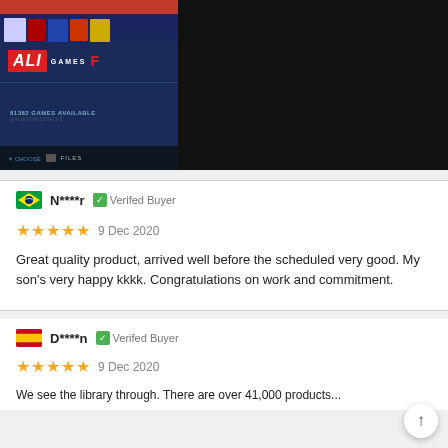[Figure (photo): Screenshot of an ALI Games interface showing '81382 GAMES AVAILABLE' with CHOOSE FILES option at bottom, game covers visible at top. Dark blue background with red 'ALI GAMES' logo.]
N****r   Verifed Buyer
★★★★★  9 Dec 2020
Great quality product, arrived well before the scheduled very good. My son's very happy kkkk. Congratulations on work and commitment.
D****n   Verifed Buyer
★★★★★  9 Dec 2020
We see the library through. There are over 41,000 products...